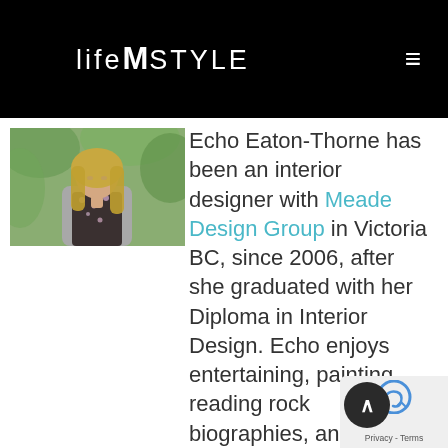lifeMstyle
[Figure (photo): Portrait photo of a woman with long blonde hair wearing a grey cardigan and floral top, outdoors with greenery background]
Echo Eaton-Thorne has been an interior designer with Meade Design Group in Victoria BC, since 2006, after she graduated with her Diploma in Interior Design. Echo enjoys entertaining, painting, reading rock biographies, and adventures with her husband, Nic,